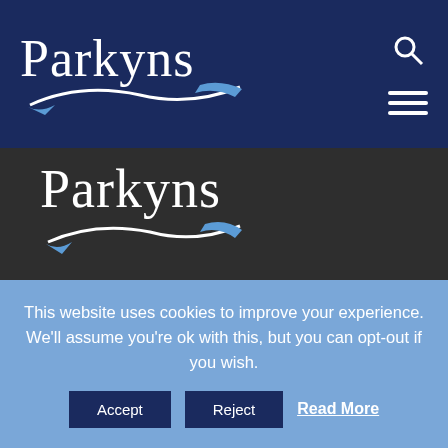[Figure (logo): Parkyns logo in white text with blue swoosh on dark navy navigation bar, with search icon and hamburger menu on the right]
[Figure (logo): Parkyns logo in white text with blue swoosh on dark grey background content area]
Parkyns have been established in the local community for over 60 years and we pride ourselves on being a family run company throughout that time. The business was established in 1950 and has seen many different markets good and bad but have stayed
This website uses cookies to improve your experience. We'll assume you're ok with this, but you can opt-out if you wish.